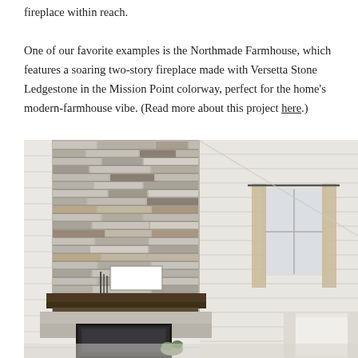fireplace within reach.

One of our favorite examples is the Northmade Farmhouse, which features a soaring two-story fireplace made with Versetta Stone Ledgestone in the Mission Point colorway, perfect for the home's modern-farmhouse vibe. (Read more about this project here.)
[Figure (photo): Aerial/overhead view of a modern-farmhouse interior featuring a tall two-story stone fireplace with Versetta Stone Ledgestone in Mission Point colorway. The fireplace surround shows stacked ledgestone in grey and beige tones. A dark wood mantel shelf holds a framed artwork and decorative items. White shiplap walls surround the fireplace. A window with curtains is visible on the right side. A white chair is partially visible in the lower right corner.]